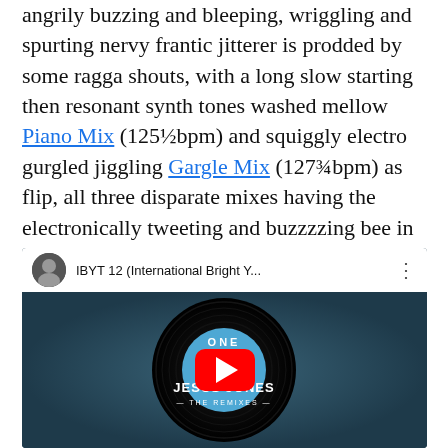angrily buzzing and bleeping, wriggling and spurting nervy frantic jitterer is prodded by some ragga shouts, with a long slow starting then resonant synth tones washed mellow Piano Mix (125½bpm) and squiggly electro gurgled jiggling Gargle Mix (127¾bpm) as flip, all three disparate mixes having the electronically tweeting and buzzzzing bee in common. Someone swat it!
[Figure (screenshot): YouTube video embed showing 'IBYT 12 (International Bright Y...' with a vinyl record thumbnail featuring ONE UP JESUS JONES THE REMIXES label in blue and white, with YouTube play button overlay]